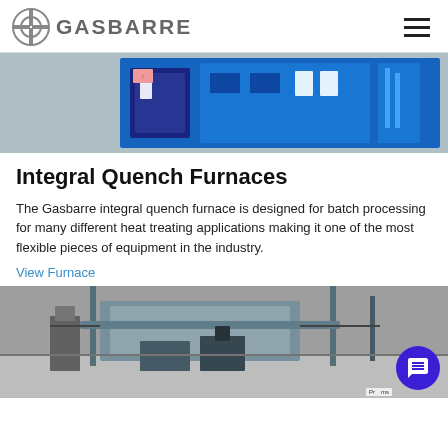GASBARRE
[Figure (photo): Blue industrial integral quench furnace equipment]
Integral Quench Furnaces
The Gasbarre integral quench furnace is designed for batch processing for many different heat treating applications making it one of the most flexible pieces of equipment in the industry.
View Furnace
[Figure (photo): Industrial facility with heat treating equipment and pipes]